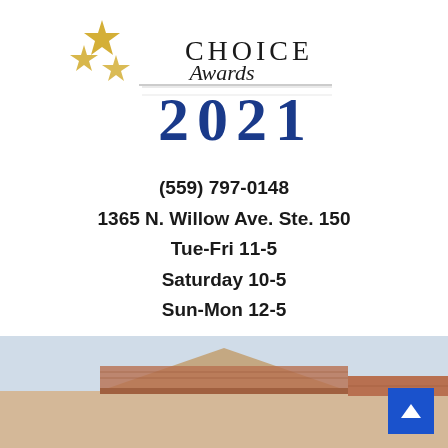[Figure (logo): Choice Awards 2021 logo with gold stars and script/serif mixed typography in blue]
(559) 797-0148
1365 N. Willow Ave. Ste. 150
Tue-Fri 11-5
Saturday 10-5
Sun-Mon 12-5
[Figure (photo): Exterior photo of a building with a terracotta tile roof, beige stucco walls, light blue sky]